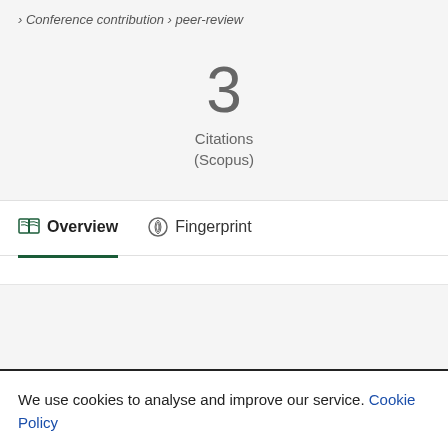› Conference contribution › peer-review
3
Citations
(Scopus)
Overview   Fingerprint
We use cookies to analyse and improve our service. Cookie Policy